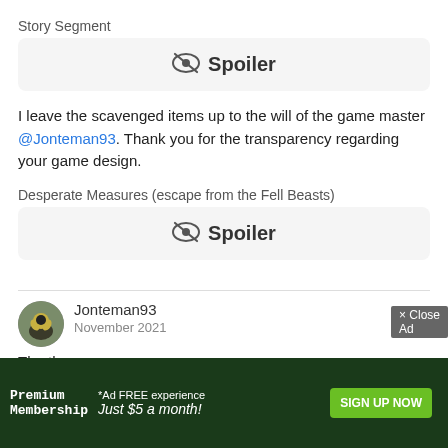Story Segment
[Figure (other): Spoiler button with eye-slash icon and bold text 'Spoiler' on light grey background]
I leave the scavenged items up to the will of the game master @Jonteman93. Thank you for the transparency regarding your game design.
Desperate Measures (escape from the Fell Beasts)
[Figure (other): Spoiler button with eye-slash icon and bold text 'Spoiler' on light grey background]
Jonteman93
November 2021
The th
[Figure (other): Advertisement overlay: Premium Membership *Ad FREE experience Just $5 a month! SIGN UP NOW, with Close Ad button]